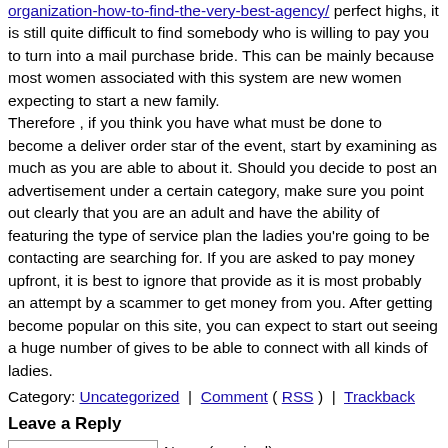organization-how-to-find-the-very-best-agency/ perfect highs, it is still quite difficult to find somebody who is willing to pay you to turn into a mail purchase bride. This can be mainly because most women associated with this system are new women expecting to start a new family. Therefore , if you think you have what must be done to become a deliver order star of the event, start by examining as much as you are able to about it. Should you decide to post an advertisement under a certain category, make sure you point out clearly that you are an adult and have the ability of featuring the type of service plan the ladies you're going to be contacting are searching for. If you are asked to pay money upfront, it is best to ignore that provide as it is most probably an attempt by a scammer to get money from you. After getting become popular on this site, you can expect to start out seeing a huge number of gives to be able to connect with all kinds of ladies.
Category: Uncategorized | Comment ( RSS ) | Trackback
Leave a Reply
Name (required)